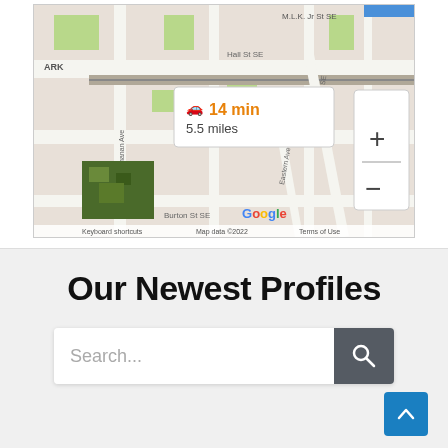[Figure (screenshot): Google Maps screenshot showing a street map with a driving directions popup indicating 14 min and 5.5 miles. The map shows streets including Burton St SE, Hall St SE, Buchanan Ave, Kalamazoo Ave SE, and Eastern Ave in what appears to be Grand Rapids, MI. Map controls (+/-) are visible on the right. Map data ©2022. A satellite image thumbnail is shown in the lower left corner.]
Our Newest Profiles
Search...